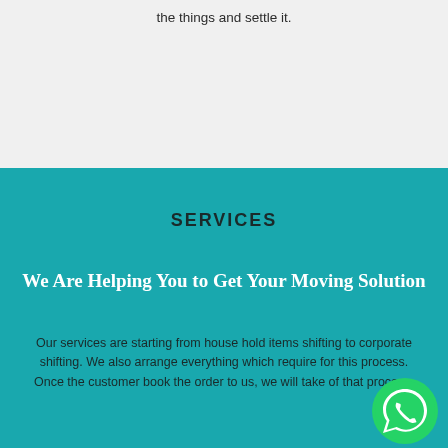the things and settle it.
SERVICES
We Are Helping You to Get Your Moving Solution
Our services are starting from house hold items shifting to corporate shifting.  We also arrange everything which require for this process. Once the customer book the order to us, we will take of that process.
[Figure (logo): WhatsApp logo icon — green circle with white phone handset]